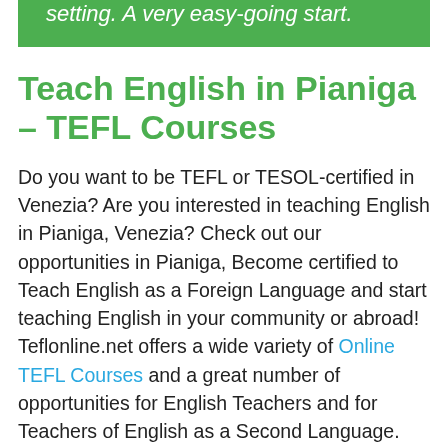students and their levels in a classroom setting. A very easy-going start.
Teach English in Pianiga – TEFL Courses
Do you want to be TEFL or TESOL-certified in Venezia? Are you interested in teaching English in Pianiga, Venezia? Check out our opportunities in Pianiga, Become certified to Teach English as a Foreign Language and start teaching English in your community or abroad! Teflonline.net offers a wide variety of Online TEFL Courses and a great number of opportunities for English Teachers and for Teachers of English as a Second Language. Here Below you can check out the feedback (for one of our units) of one of the 16,000 students that last